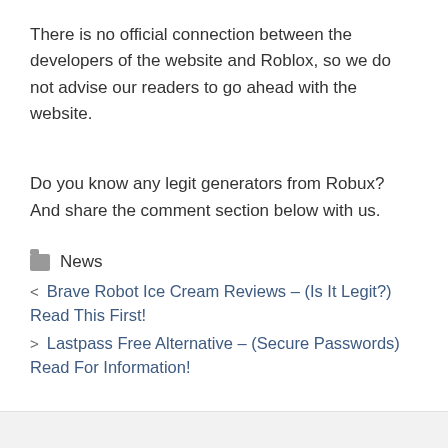There is no official connection between the developers of the website and Roblox, so we do not advise our readers to go ahead with the website.
Do you know any legit generators from Robux? And share the comment section below with us.
News
< Brave Robot Ice Cream Reviews – (Is It Legit?) Read This First!
> Lastpass Free Alternative – (Secure Passwords) Read For Information!